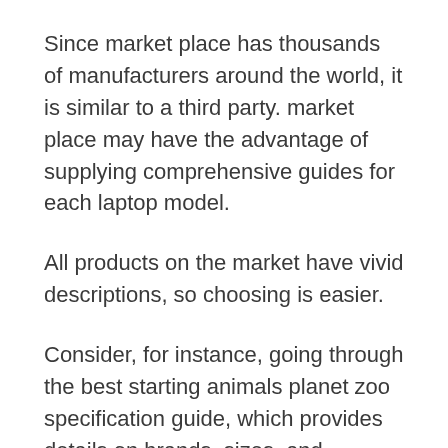Since market place has thousands of manufacturers around the world, it is similar to a third party. market place may have the advantage of supplying comprehensive guides for each laptop model.
All products on the market have vivid descriptions, so choosing is easier.
Consider, for instance, going through the best starting animals planet zoo specification guide, which provides details on brands, sizes, and functions of the starting animals planet zoos.